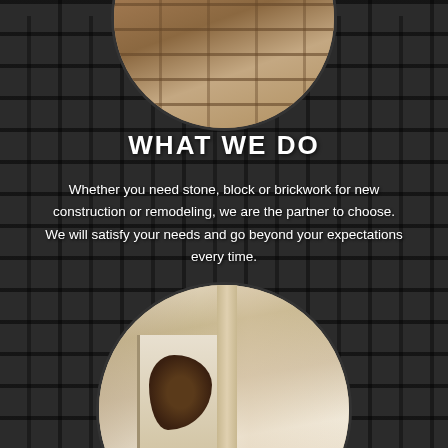[Figure (photo): Circular cropped photo at top showing brick wall construction with tan/beige bricks]
WHAT WE DO
Whether you need stone, block or brickwork for new construction or remodeling, we are the partner to choose. We will satisfy your needs and go beyond your expectations every time.
[Figure (photo): Circular cropped photo at bottom showing an interior space with stone fireplace, wooden ceiling beams, pendant lights, decorative deer head wall mount, and open lobby area]